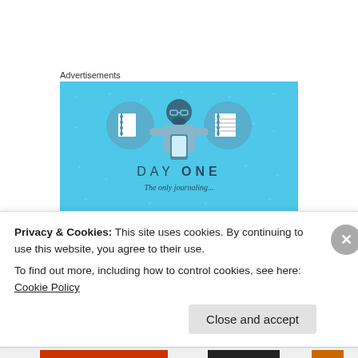Advertisements
[Figure (illustration): Day One journaling app advertisement. Light blue background with stars/dots pattern. Center shows a cartoon person holding a phone, flanked by two circular icons: left shows a blank notebook, right shows a lined notebook. Text reads 'DAY ONE' in bold with 'ONE' in bolder weight, and tagline 'The only journaling...']
Photo by: Bolzano Bozon.it
Privacy & Cookies: This site uses cookies. By continuing to use this website, you agree to their use.
To find out more, including how to control cookies, see here: Cookie Policy